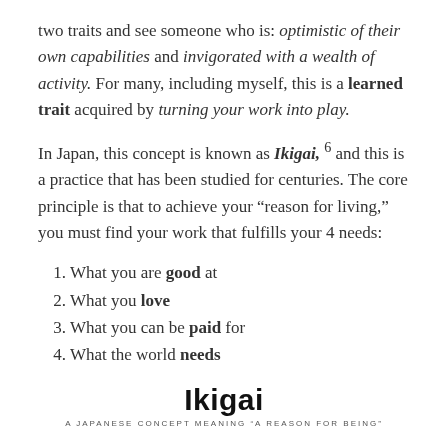two traits and see someone who is: optimistic of their own capabilities and invigorated with a wealth of activity. For many, including myself, this is a learned trait acquired by turning your work into play.
In Japan, this concept is known as Ikigai, 6 and this is a practice that has been studied for centuries. The core principle is that to achieve your “reason for living,” you must find your work that fulfills your 4 needs:
1. What you are good at
2. What you love
3. What you can be paid for
4. What the world needs
[Figure (illustration): Ikigai diagram - a Venn diagram with overlapping circles. Title reads 'Ikigai' in bold, subtitle reads 'A JAPANESE CONCEPT MEANING "A REASON FOR BEING"'. A yellow circle is partially visible at the bottom of the page.]